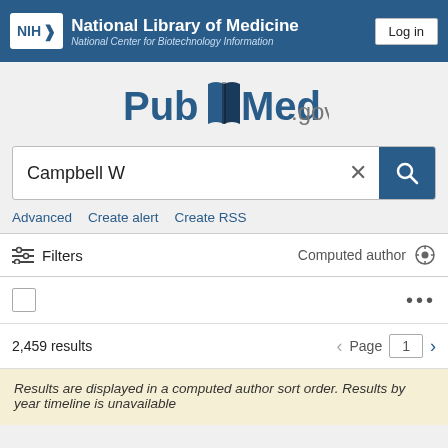NIH National Library of Medicine National Center for Biotechnology Information | Log in
[Figure (logo): PubMed.gov logo with stylized open book icon]
Campbell W
Advanced   Create alert   Create RSS
≡ Filters   Computed author ⚙
2,459 results   Page 1
Results are displayed in a computed author sort order. Results by year timeline is unavailable